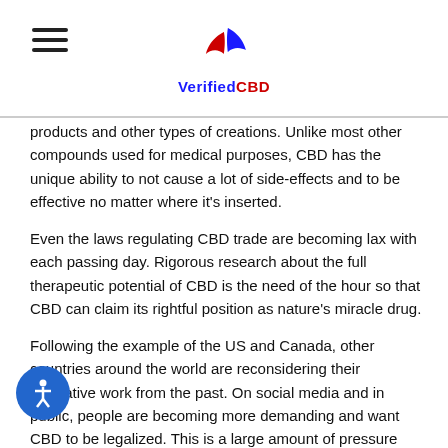VerifiedCBD
products and other types of creations. Unlike most other compounds used for medical purposes, CBD has the unique ability to not cause a lot of side-effects and to be effective no matter where it's inserted.
Even the laws regulating CBD trade are becoming lax with each passing day. Rigorous research about the full therapeutic potential of CBD is the need of the hour so that CBD can claim its rightful position as nature's miracle drug.
Following the example of the US and Canada, other countries around the world are reconsidering their legislative work from the past. On social media and in public, people are becoming more demanding and want CBD to be legalized. This is a large amount of pressure and the future of CBD is surely bright with so many activists, political parties and investors.
As a society, we need the voices of those who are powerful and able to make a change. Only together can we ensure that CBD is thoroughly research and applied as a solution to many present-day problems. The “drug war” stigma is slowly waning, opening the door for a new kind of future where organic products are the